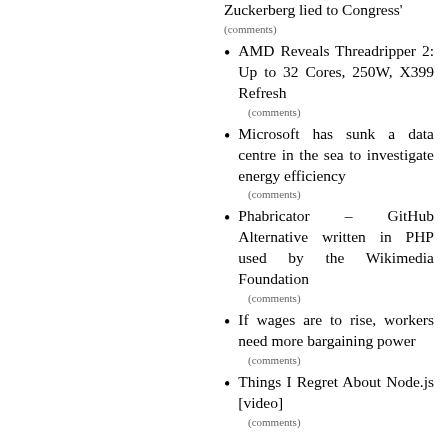Zuckerberg lied to Congress'
(comments)
AMD Reveals Threadripper 2: Up to 32 Cores, 250W, X399 Refresh
(comments)
Microsoft has sunk a data centre in the sea to investigate energy efficiency
(comments)
Phabricator – GitHub Alternative written in PHP used by the Wikimedia Foundation
(comments)
If wages are to rise, workers need more bargaining power
(comments)
Things I Regret About Node.js [video]
(comments)